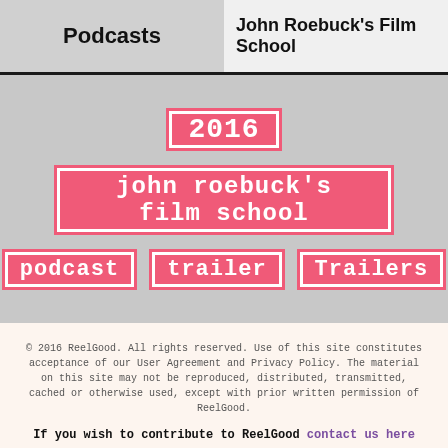Podcasts | John Roebuck's Film School
2016
john roebuck's film school
podcast
trailer
Trailers
© 2016 ReelGood. All rights reserved. Use of this site constitutes acceptance of our User Agreement and Privacy Policy. The material on this site may not be reproduced, distributed, transmitted, cached or otherwise used, except with prior written permission of ReelGood.
If you wish to contribute to ReelGood contact us here
© 2016 ReelGood.